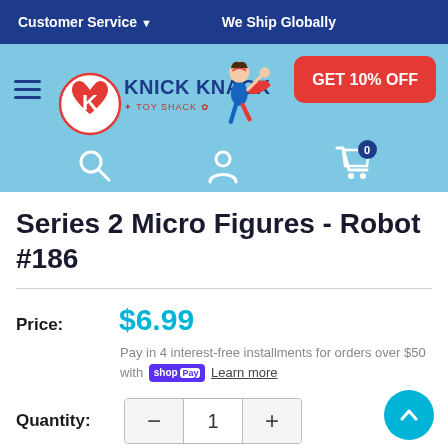Customer Service ▾   We Ship Globally
[Figure (logo): Knick Knack Toy Shack logo with superhero figure and heart-K emblem]
GET 10% OFF
Series 2 Micro Figures - Robot #186
Price: $6.99
Pay in 4 interest-free installments for orders over $50 with Shop Pay  Learn more
Quantity: 1